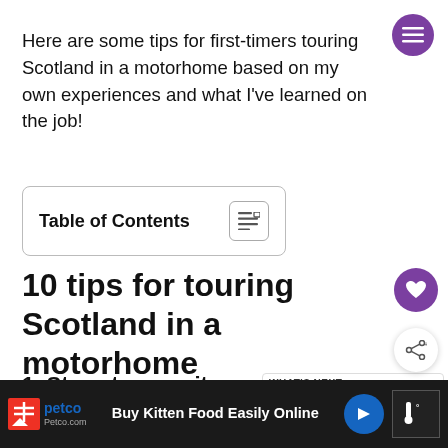Here are some tips for first-timers touring Scotland in a motorhome based on my own experiences and what I've learned on the job!
Table of Contents
10 tips for touring Scotland in a motorhome
1. Stay at campsites
For your first trip touring Scotland in a motorhome,
[Figure (other): Advertisement bar at bottom: Petco logo with 'Buy Kitten Food Easily Online Petco.com' text on dark background with navigation arrow icon]